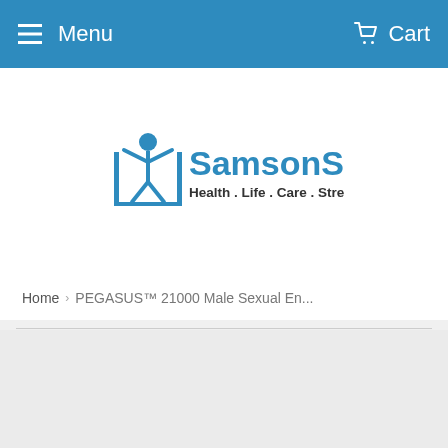Menu  Cart
[Figure (logo): SamsonStore logo with figure icon in blue and text 'SamsonStore Health . Life . Care . Strength']
Home › PEGASUS™ 21000 Male Sexual En...